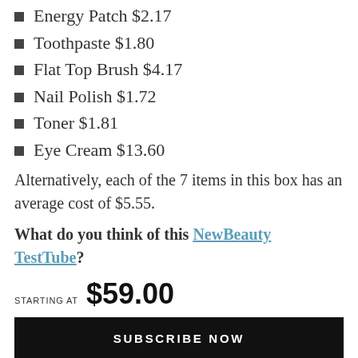Energy Patch $2.17
Toothpaste $1.80
Flat Top Brush $4.17
Nail Polish $1.72
Toner $1.81
Eye Cream $13.60
Alternatively, each of the 7 items in this box has an average cost of $5.55.
What do you think of this NewBeauty TestTube?
STARTING AT  $59.00
SUBSCRIBE NOW